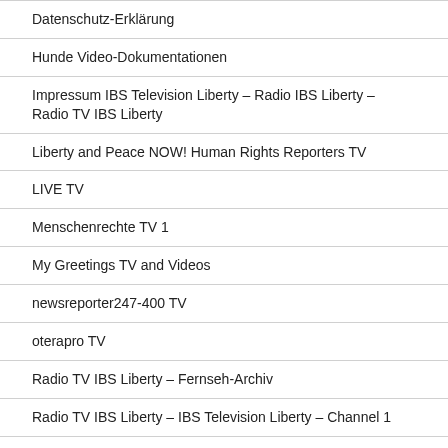Datenschutz-Erklärung
Hunde Video-Dokumentationen
Impressum IBS Television Liberty – Radio IBS Liberty – Radio TV IBS Liberty
Liberty and Peace NOW! Human Rights Reporters TV
LIVE TV
Menschenrechte TV 1
My Greetings TV and Videos
newsreporter247-400 TV
oterapro TV
Radio TV IBS Liberty – Fernseh-Archiv
Radio TV IBS Liberty – IBS Television Liberty – Channel 1